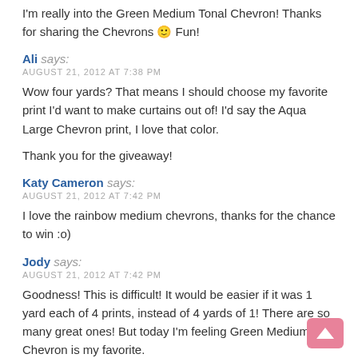I'm really into the Green Medium Tonal Chevron! Thanks for sharing the Chevrons 🙂 Fun!
Ali says:
AUGUST 21, 2012 AT 7:38 PM
Wow four yards? That means I should choose my favorite print I'd want to make curtains out of! I'd say the Aqua Large Chevron print, I love that color.
Thank you for the giveaway!
Katy Cameron says:
AUGUST 21, 2012 AT 7:42 PM
I love the rainbow medium chevrons, thanks for the chance to win :o)
Jody says:
AUGUST 21, 2012 AT 7:42 PM
Goodness! This is difficult! It would be easier if it was 1 yard each of 4 prints, instead of 4 yards of 1! There are so many great ones! But today I'm feeling Green Medium Chevron is my favorite.